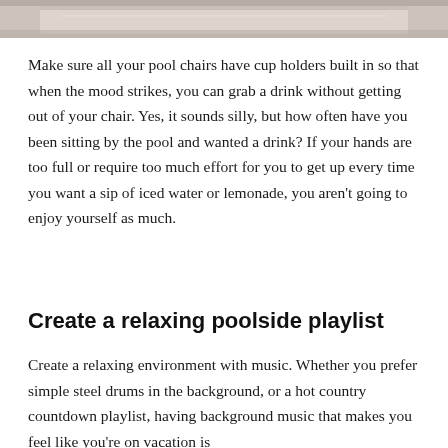[Figure (photo): Partial image at top of page, appears to show someone near a pool or outdoor setting, cropped at bottom]
Make sure all your pool chairs have cup holders built in so that when the mood strikes, you can grab a drink without getting out of your chair. Yes, it sounds silly, but how often have you been sitting by the pool and wanted a drink? If your hands are too full or require too much effort for you to get up every time you want a sip of iced water or lemonade, you aren't going to enjoy yourself as much.
Create a relaxing poolside playlist
Create a relaxing environment with music. Whether you prefer simple steel drums in the background, or a hot country countdown playlist, having background music that makes you feel like you're on vacation is